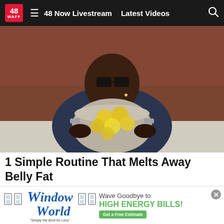48 WAFF | 48 Now Livestream | Latest Videos
[Figure (photo): A man wearing glasses holding a large pot filled with lemon slices in a kitchen setting with brick wall background]
1 Simple Routine That Melts Away Belly Fat
Health Gut Boost | Sponsored
[Figure (photo): Partial view of a second article image with number 6 visible, beige/tan background]
[Figure (other): Window World advertisement banner: Wave Goodbye to HIGH ENERGY BILLS! Get a Free Estimate. Simply the Best for Less.]